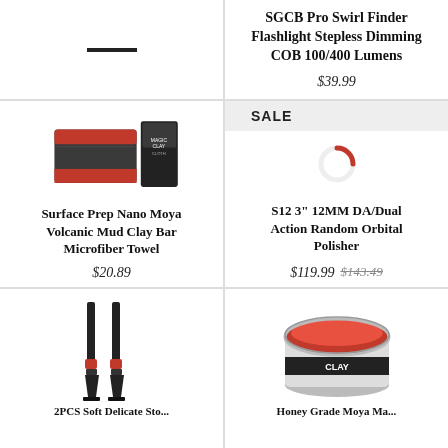[Figure (other): Horizontal dash/line decoration in top-left cell]
SGCB Pro Swirl Finder Flashlight Stepless Dimming COB 100/400 Lumens
$39.99
SALE
[Figure (photo): Surface Prep Nano Moya Volcanic Mud Clay Bar Microfiber Towel product image - dark folded cloth with red accents and packaging box]
Surface Prep Nano Moya Volcanic Mud Clay Bar Microfiber Towel
$20.89
[Figure (other): Loading spinner / circular loading icon for S12 3 inch 12MM DA/Dual Action Random Orbital Polisher product]
S12 3" 12MM DA/Dual Action Random Orbital Polisher
$119.99  $143.49
[Figure (photo): 2PCS Soft Delicate Detailing brushes - two long-handled black brushes with orange accents]
2PCS Soft Delicate Sto...
[Figure (photo): Honey Grade Moya Mastic or clay product in clear round container with red/pink clay visible]
Honey Grade Moya Ma...